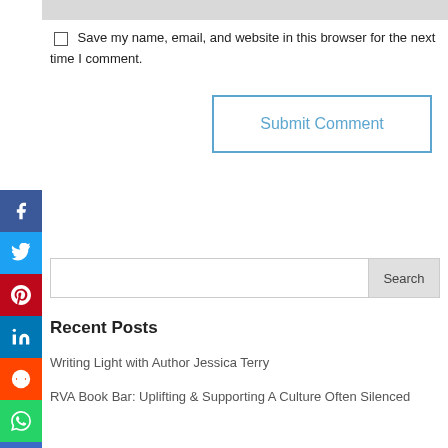Save my name, email, and website in this browser for the next time I comment.
Submit Comment
[Figure (screenshot): Social media sharing sidebar with icons for Facebook, Twitter, Pinterest, LinkedIn, Reddit, WhatsApp, and Email]
Search
Recent Posts
Writing Light with Author Jessica Terry
RVA Book Bar: Uplifting & Supporting A Culture Often Silenced